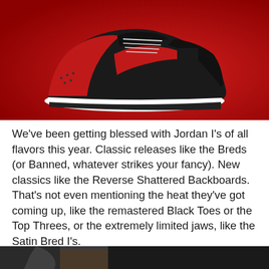[Figure (photo): Air Jordan 1 sneaker in black and red colorway (Bred/Banned), displayed against a red background. The shoe features a black leather upper with red toe box and Swoosh logo, white midsole.]
We've been getting blessed with Jordan I's of all flavors this year. Classic releases like the Breds (or Banned, whatever strikes your fancy). New classics like the Reverse Shattered Backboards. That's not even mentioning the heat they've got coming up, like the remastered Black Toes or the Top Threes, or the extremely limited jaws, like the Satin Bred I's.
[Figure (photo): Partial view of a person wearing a jacket, partially cropped at the bottom of the page.]